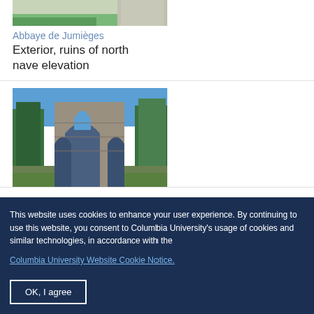[Figure (photo): Top portion of a photo showing Abbaye de Jumièges exterior with green lawn and stone wall]
Abbaye de Jumièges
Exterior, ruins of north nave elevation
[Figure (photo): Photo of Abbaye de Jumièges showing ruins with Gothic arches, stone walls, and surrounding green trees under blue sky]
This website uses cookies to enhance your user experience. By continuing to use this website, you consent to Columbia University's usage of cookies and similar technologies, in accordance with the
Columbia University Website Cookie Notice.
OK, I agree